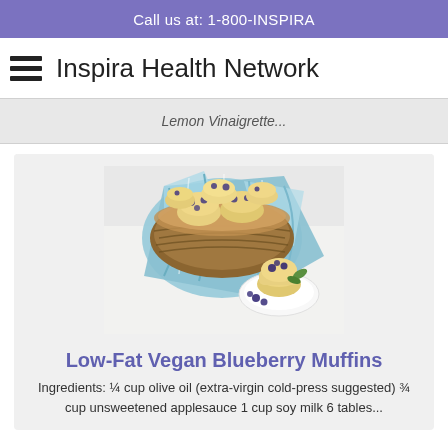Call us at: 1-800-INSPIRA
Inspira Health Network
Lemon Vinaigrette...
[Figure (photo): Basket of blueberry muffins with a light blue cloth, and one muffin on a plate with blueberries and mint.]
Low-Fat Vegan Blueberry Muffins
Ingredients: ¼ cup olive oil (extra-virgin cold-press suggested) ¾ cup unsweetened applesauce 1 cup soy milk 6 tables...